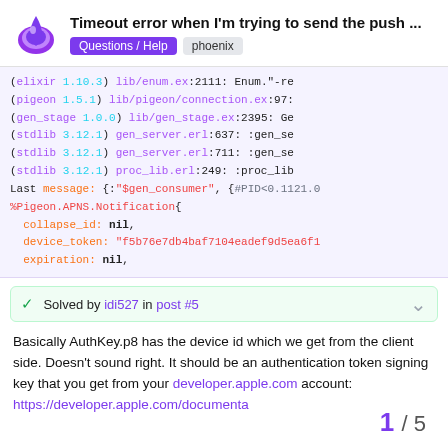Timeout error when I'm trying to send the push ...
(elixir 1.10.3) lib/enum.ex:2111: Enum."-re
(pigeon 1.5.1) lib/pigeon/connection.ex:97:
(gen_stage 1.0.0) lib/gen_stage.ex:2395: Ge
(stdlib 3.12.1) gen_server.erl:637: :gen_se
(stdlib 3.12.1) gen_server.erl:711: :gen_se
(stdlib 3.12.1) proc_lib.erl:249: :proc_lib
Last message: {:"$gen_consumer", {#PID<0.1121.0
%Pigeon.APNS.Notification{
  collapse_id: nil,
  device_token: "f5b76e7db4baf7104eadef9d5ea6f1
  expiration: nil,
✓ Solved by idi527 in post #5
Basically AuthKey.p8 has the device id which we get from the client side. Doesn't sound right. It should be an authentication token signing key that you get from your developer.apple.com account: https://developer.apple.com/documenta